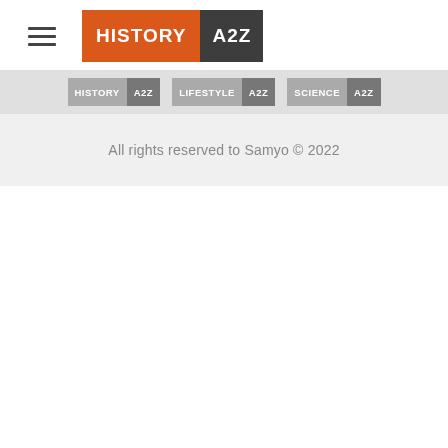[Figure (logo): History A2Z logo with hamburger menu icon. Orange rectangle with HISTORY in white bold text, dark gray rectangle with A2Z in white bold text.]
[Figure (infographic): Navigation bar with three site links: HISTORY A2Z, LIFESTYLE A2Z, SCIENCE A2Z, each rendered as two-tone pill/badge shapes in gray tones.]
All rights reserved to Samyo © 2022